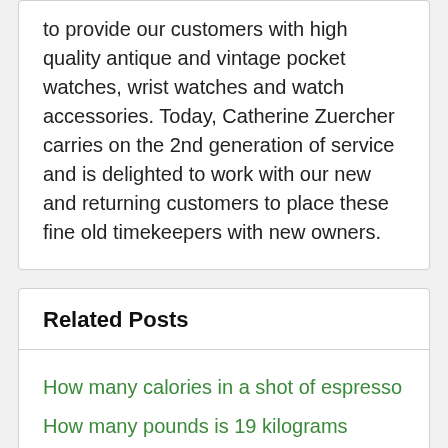to provide our customers with high quality antique and vintage pocket watches, wrist watches and watch accessories. Today, Catherine Zuercher carries on the 2nd generation of service and is delighted to work with our new and returning customers to place these fine old timekeepers with new owners.
Related Posts
How many calories in a shot of espresso
How many pounds is 19 kilograms
Accumulated depreciation is a permanent account
How much does a pallet of water weigh